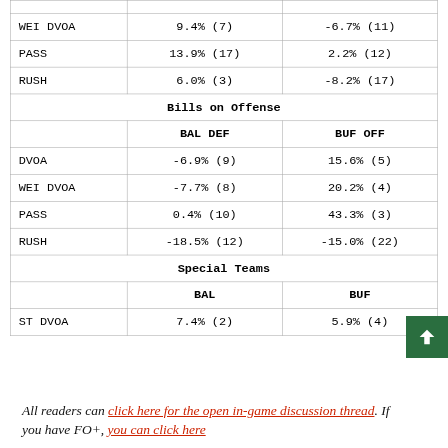|  | BAL DEF / BAL OFF | BUF OFF / BUF DEF |
| --- | --- | --- |
| WEI DVOA | 9.4% (7) | -6.7% (11) |
| PASS | 13.9% (17) | 2.2% (12) |
| RUSH | 6.0% (3) | -8.2% (17) |
| Bills on Offense |  |  |
|  | BAL DEF | BUF OFF |
| DVOA | -6.9% (9) | 15.6% (5) |
| WEI DVOA | -7.7% (8) | 20.2% (4) |
| PASS | 0.4% (10) | 43.3% (3) |
| RUSH | -18.5% (12) | -15.0% (22) |
| Special Teams |  |  |
|  | BAL | BUF |
| ST DVOA | 7.4% (2) | 5.9% (4) |
All readers can click here for the open in-game discussion thread. If you have FO+, you can click here